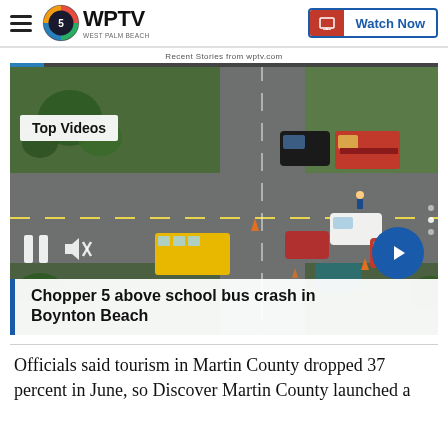WPTV — Watch Now
Recent Stories from wptv.com
[Figure (screenshot): Aerial video screenshot of a school bus crash intersection in Boynton Beach, showing multiple vehicles and fire trucks. Overlay shows Top Videos badge, video controls (pause, mute), and next arrow button.]
Chopper 5 above school bus crash in Boynton Beach
Officials said tourism in Martin County dropped 37 percent in June, so Discover Martin County launched a